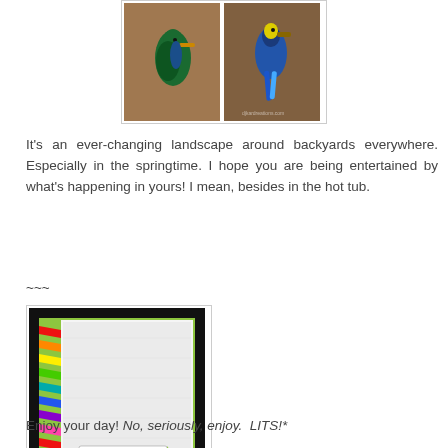[Figure (photo): Two birds (likely kingfishers or similar colorful birds) side by side on a rocky/wooden surface, in a framed photo]
It's an ever-changing landscape around backyards everywhere. Especially in the springtime. I hope you are being entertained by what's happening in yours! I mean, besides in the hot tub.
~~~
[Figure (photo): A handmade greeting card with a lime green background, chevron/arrow decorations in rainbow colors on the left side, white embossed panel, and a small birthday tag label]
Enjoy your day! No, seriously, enjoy.  LITS!*